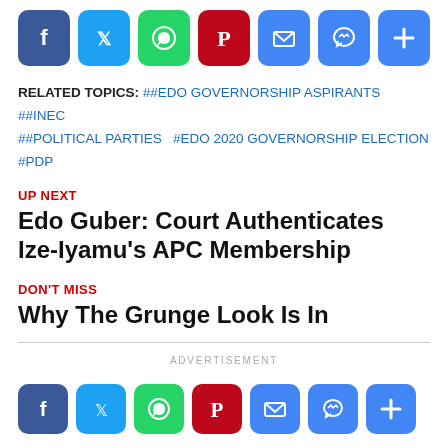[Figure (other): Social share icons bar: Facebook (blue), Twitter (light blue), WhatsApp (green), Pinterest (dark red), Email (blue), Messenger (blue), AddThis plus (blue)]
RELATED TOPICS: ##EDO GOVERNORSHIP ASPIRANTS ##INEC ##POLITICAL PARTIES #EDO 2020 GOVERNORSHIP ELECTION #PDP
UP NEXT
Edo Guber: Court Authenticates Ize-Iyamu's APC Membership
DON'T MISS
Why The Grunge Look Is In
ADVERTISEMENT
[Figure (other): Social share icons bar (bottom): Facebook (blue), Twitter (light blue), WhatsApp (green), Pinterest (dark red), Email (blue), Messenger (blue), AddThis plus (blue)]